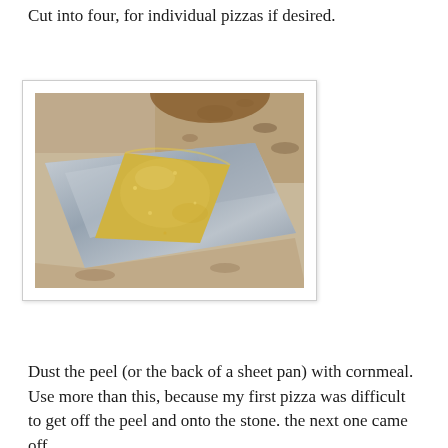Cut into four, for individual pizzas if desired.
[Figure (photo): A triangular piece of pizza dough dusted with cornmeal resting on the back of a metal sheet pan, with a granite countertop visible in the background.]
Dust the peel (or the back of a sheet pan) with cornmeal. Use more than this, because my first pizza was difficult to get off the peel and onto the stone. the next one came off